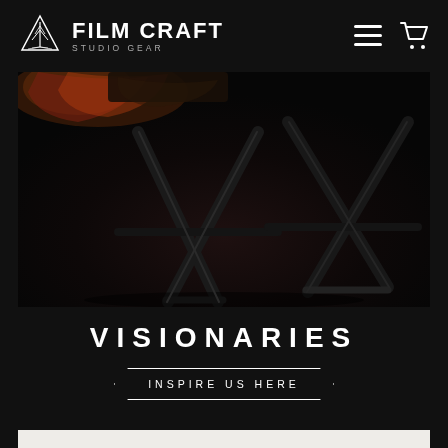FILM CRAFT STUDIO GEAR
[Figure (photo): Dark studio photo showing the legs/base of a director's chair or camera stand with X-frame construction on a dark background, with colorful fabric/costume visible at top left]
VISIONARIES
INSPIRE US HERE